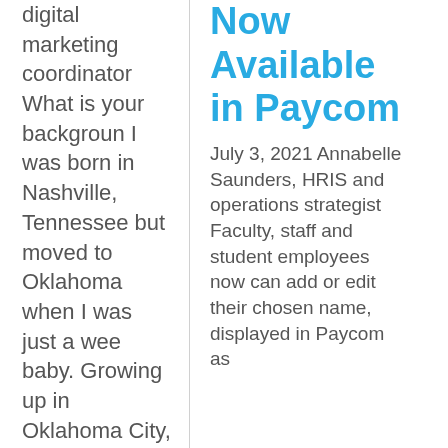digital marketing coordinator What is your background I was born in Nashville, Tennessee but moved to Oklahoma when I was just a wee baby. Growing up in Oklahoma City, I graduated from Classen S.A.S. High School before following a
Now Available in Paycom
July 3, 2021 Annabelle Saunders, HRIS and operations strategist Faculty, staff and student employees now can add or edit their chosen name, displayed in Paycom as